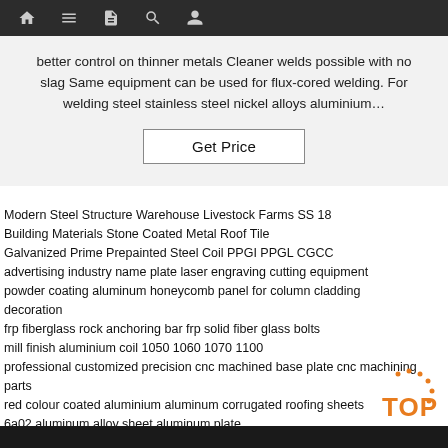Navigation bar with home, menu, document, search, and user icons
better control on thinner metals Cleaner welds possible with no slag Same equipment can be used for flux-cored welding. For welding steel stainless steel nickel alloys aluminium…
Get Price
Modern Steel Structure Warehouse Livestock Farms SS 18
Building Materials Stone Coated Metal Roof Tile
Galvanized Prime Prepainted Steel Coil PPGI PPGL CGCC
advertising industry name plate laser engraving cutting equipment
powder coating aluminum honeycomb panel for column cladding decoration
frp fiberglass rock anchoring bar frp solid fiber glass bolts
mill finish aluminium coil 1050 1060 1070 1100
professional customized precision cnc machined base plate cnc machining parts
red colour coated aluminium aluminum corrugated roofing sheets
6a02 aluminum alloy sheet aluminum plate
[Figure (logo): Orange TOP logo with dots arranged in a circle above the text]